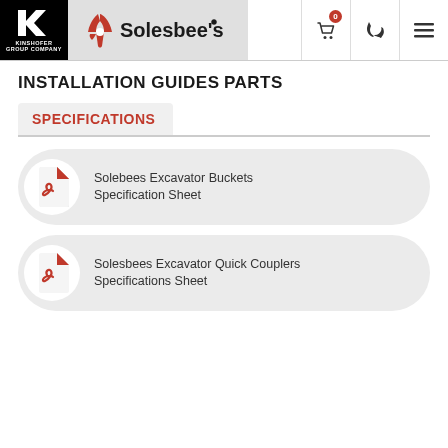Kinshofer Group Company | Solesbee's
INSTALLATION GUIDES
PARTS
SPECIFICATIONS
Solebees Excavator Buckets Specification Sheet
Solesbees Excavator Quick Couplers Specifications Sheet